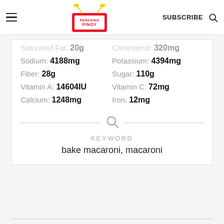Pagkaing Pinoy TV | SUBSCRIBE
Saturated Fat: 20g   Cholesterol: 320mg
Sodium: 4188mg   Potassium: 4394mg
Fiber: 28g   Sugar: 110g
Vitamin A: 14604IU   Vitamin C: 72mg
Calcium: 1248mg   Iron: 12mg
KEYWORD
bake macaroni, macaroni